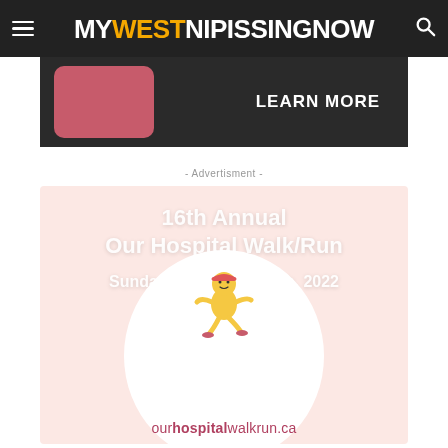MY WEST NIPISSING NOW (navigation bar)
[Figure (illustration): Partial dark banner advertisement with pink/red rounded rectangle and 'LEARN MORE' text in white]
- Advertisment -
[Figure (illustration): 16th Annual Our Hospital Walk/Run event advertisement. Pink/salmon background with white text: '16th Annual Our Hospital Walk/Run', 'Sunday, September 25th, 2022'. White circle with running character mascot. URL: ourhospitalwalkrun.ca]